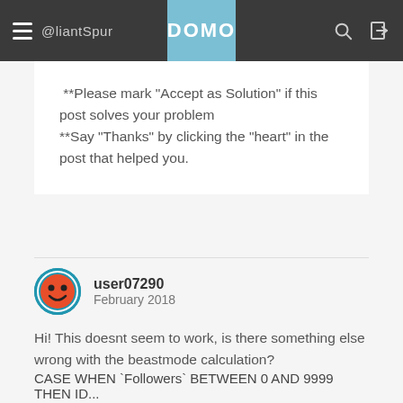DOMO — navigation bar with hamburger menu, logo, search and login icons
**Please mark "Accept as Solution" if this post solves your problem
**Say "Thanks" by clicking the "heart" in the post that helped you.
user07290
February 2018
Hi! This doesnt seem to work, is there something else wrong with the beastmode calculation?
CASE WHEN `Followers` BETWEEN 0 AND 9999
THEN ID...